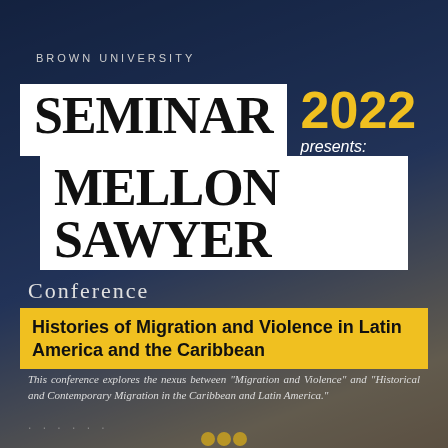BROWN UNIVERSITY
MELLON SAWYER SEMINAR 2022 presents:
Conference
Histories of Migration and Violence in Latin America and the Caribbean
This conference explores the nexus between "Migration and Violence" and "Historical and Contemporary Migration in the Caribbean and Latin America."
. . . . . .